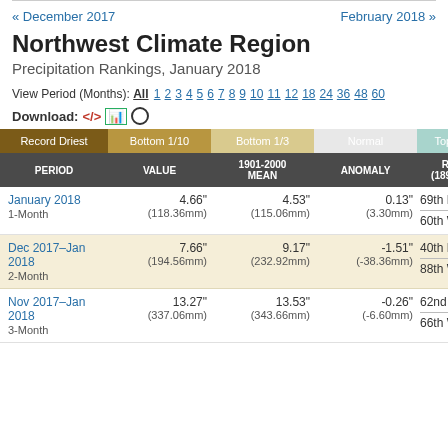« December 2017    February 2018 »
Northwest Climate Region
Precipitation Rankings, January 2018
View Period (Months): All 1 2 3 4 5 6 7 8 9 10 11 12 18 24 36 48 60
Download: <> [excel] [circle]
| PERIOD | VALUE | 1901-2000 MEAN | ANOMALY | RANK (1895-2...) |
| --- | --- | --- | --- | --- |
| January 2018
1-Month | 4.66"
(118.36mm) | 4.53"
(115.06mm) | 0.13"
(3.30mm) | 69th Dri...
60th We... |
| Dec 2017–Jan 2018
2-Month | 7.66"
(194.56mm) | 9.17"
(232.92mm) | -1.51"
(-38.36mm) | 40th Dri...
88th We... |
| Nov 2017–Jan 2018
3-Month | 13.27"
(337.06mm) | 13.53"
(343.66mm) | -0.26"
(-6.60mm) | 62nd Dr...
66th We... |